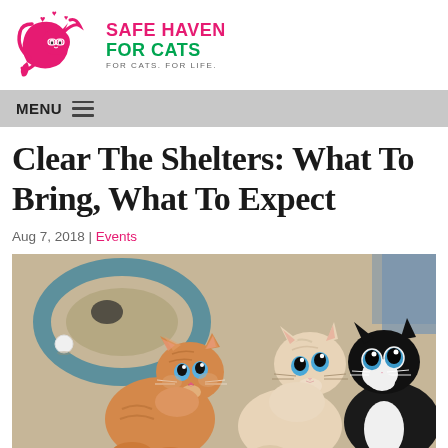[Figure (logo): Safe Haven For Cats logo — magenta cartoon cat with hearts, green and magenta text reading SAFE HAVEN FOR CATS, tagline FOR CATS. FOR LIFE.]
MENU ☰
Clear The Shelters: What To Bring, What To Expect
Aug 7, 2018 | Events
[Figure (photo): Three kittens looking upward — an orange tabby kitten on the left, a cream/white kitten in the center, and a black-and-white tuxedo kitten on the right, sitting on a carpet near a blue circular cat toy track.]